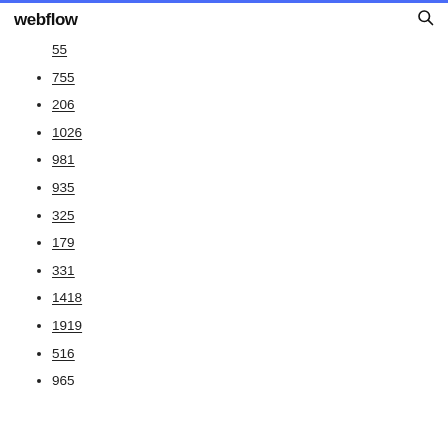webflow
55
755
206
1026
981
935
325
179
331
1418
1919
516
965